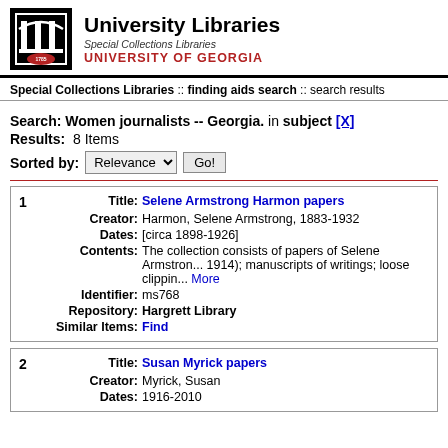University Libraries | Special Collections Libraries | UNIVERSITY OF GEORGIA
Special Collections Libraries :: finding aids search :: search results
Search: Women journalists -- Georgia. in subject [X]
Results: 8 Items
Sorted by: Relevance  Go!
| # | Field | Value |
| --- | --- | --- |
| 1 | Title | Selene Armstrong Harmon papers |
|  | Creator | Harmon, Selene Armstrong, 1883-1932 |
|  | Dates | [circa 1898-1926] |
|  | Contents | The collection consists of papers of Selene Armstrong... 1914); manuscripts of writings; loose clippin... More |
|  | Identifier | ms768 |
|  | Repository | Hargrett Library |
|  | Similar Items | Find |
| # | Field | Value |
| --- | --- | --- |
| 2 | Title | Susan Myrick papers |
|  | Creator | Myrick, Susan |
|  | Dates | 1916-2010 |